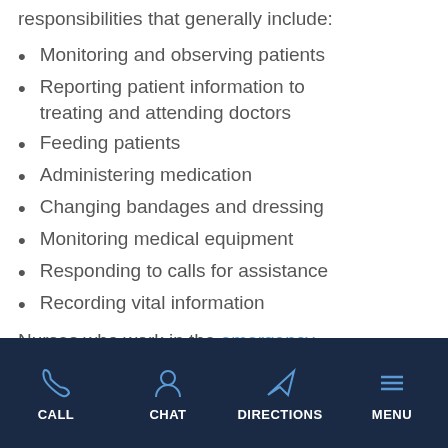responsibilities that generally include:
Monitoring and observing patients
Reporting patient information to treating and attending doctors
Feeding patients
Administering medication
Changing bandages and dressing
Monitoring medical equipment
Responding to calls for assistance
Recording vital information
Nurses who work in the emergency
CALL  CHAT  DIRECTIONS  MENU